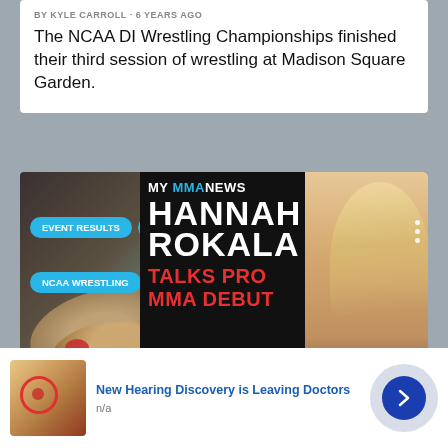BY KYLE CARROLL · 6 YEARS AGO
The NCAA DI Wrestling Championships finished their third session of wrestling at Madison Square Garden.
[Figure (photo): Sports news website screenshot showing a wrestling photo with category tags (EVENT RESULTS, EVENTS, MMA NEWS, NCAA WRESTLING) and an overlaid video thumbnail featuring 'HANNAH ROKALA TALKS PRO MMA DEBUT' with a blonde woman's photo]
[Figure (photo): Advertisement banner: 'New Hearing Discovery is Leaving Doctors' with ear anatomy image, labeled n/a]